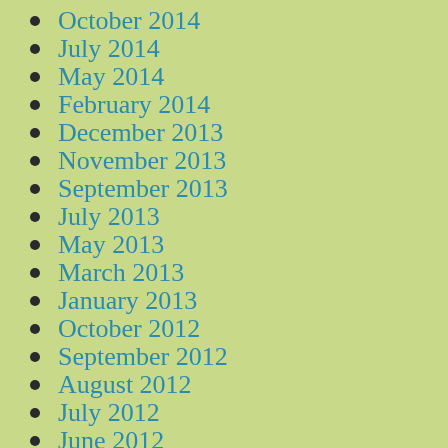October 2014
July 2014
May 2014
February 2014
December 2013
November 2013
September 2013
July 2013
May 2013
March 2013
January 2013
October 2012
September 2012
August 2012
July 2012
June 2012